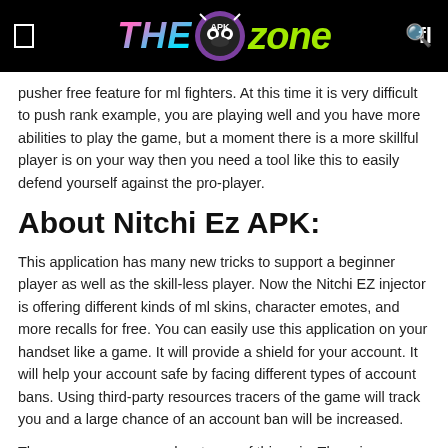THE APK ZONE
pusher free feature for ml fighters. At this time it is very difficult to push rank example, you are playing well and you have more abilities to play the game, but a moment there is a more skillful player is on your way then you need a tool like this to easily defend yourself against the pro-player.
About Nitchi Ez APK:
This application has many new tricks to support a beginner player as well as the skill-less player. Now the Nitchi EZ injector is offering different kinds of ml skins, character emotes, and more recalls for free. You can easily use this application on your handset like a game. It will provide a shield for your account. It will help your account safe by facing different types of account bans. Using third-party resources tracers of the game will track you and a large chance of an account ban will be increased.
There are many more advantages of this epic. There is a menu